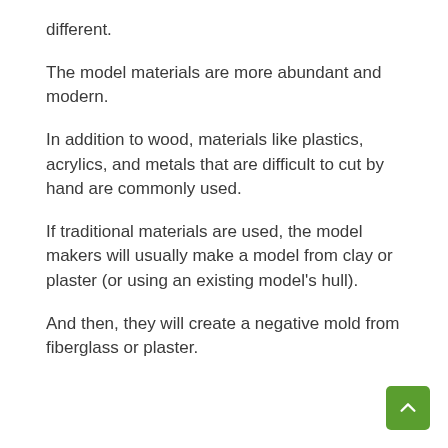different.
The model materials are more abundant and modern.
In addition to wood, materials like plastics, acrylics, and metals that are difficult to cut by hand are commonly used.
If traditional materials are used, the model makers will usually make a model from clay or plaster (or using an existing model's hull).
And then, they will create a negative mold from fiberglass or plaster.